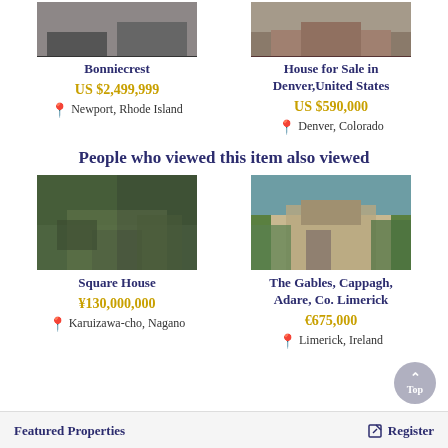[Figure (photo): Photo of Bonniecrest property]
[Figure (photo): Photo of House for Sale in Denver]
Bonniecrest
House for Sale in Denver,United States
US $2,499,999
US $590,000
Newport, Rhode Island
Denver, Colorado
People who viewed this item also viewed
[Figure (photo): Photo of Square House in Karuizawa-cho]
[Figure (photo): Photo of The Gables, Cappagh, Adare, Co. Limerick]
Square House
The Gables, Cappagh, Adare, Co. Limerick
¥130,000,000
€675,000
Karuizawa-cho, Nagano
Limerick, Ireland
Featured Properties    Register